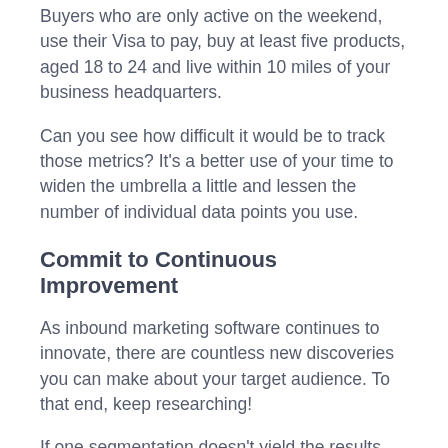Buyers who are only active on the weekend, use their Visa to pay, buy at least five products, aged 18 to 24 and live within 10 miles of your business headquarters.
Can you see how difficult it would be to track those metrics? It’s a better use of your time to widen the umbrella a little and lessen the number of individual data points you use.
Commit to Continuous Improvement
As inbound marketing software continues to innovate, there are countless new discoveries you can make about your target audience. To that end, keep researching!
If one segmentation doesn’t yield the results you thought it would, you’ve got looked into it. Feel